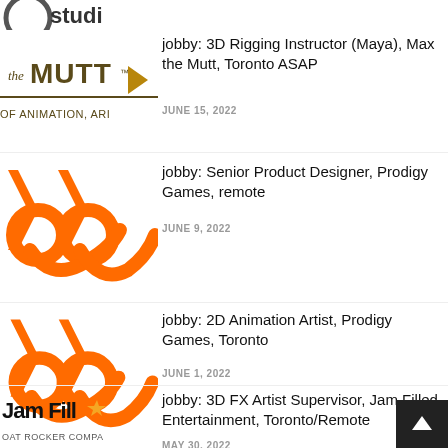[Figure (logo): Partially visible logo with text 'studi' (truncated) — animation studio brand logo]
[Figure (logo): The MUTT (School of Animation, Art) logo — partial view with text 'the MUTT™' and 'OF ANIMATION, ARI']
jobby: 3D Rigging Instructor (Maya), Max the Mutt, Toronto ASAP
JUNE 15, 2022
[Figure (logo): Prodigy Games orange logo — stylized YPD lettering in orange]
jobby: Senior Product Designer, Prodigy Games, remote
JUNE 9, 2022
[Figure (logo): Prodigy Games orange logo — stylized YPD lettering in orange (second instance)]
jobby: 2D Animation Artist, Prodigy Games, Toronto
JUNE 1, 2022
[Figure (logo): Jam Filled Entertainment logo — 'Jam Fill' text visible (truncated), Goat Rocker Company partial text]
jobby: 3D FX Artist Supervisor, Jam Filled Entertainment, Toronto/Remote
MAY 30, 2022